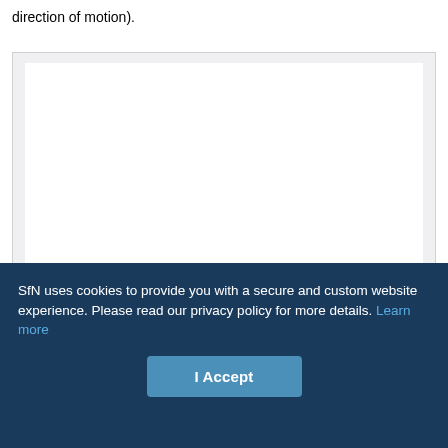direction of motion).
[Figure (other): A blank white figure area within a light grey bordered box, no visible content rendered.]
SfN uses cookies to provide you with a secure and custom website experience. Please read our privacy policy for more details. Learn more
I Accept